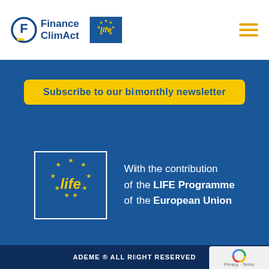[Figure (logo): Finance ClimAct logo with circular F icon in navy blue, and LIFE EU programme logo]
Subscribe to our bimonthly newsletter
[Figure (logo): LIFE Programme of the European Union logo - blue square with EU stars and cursive 'life' text]
With the contribution of the LIFE Programme of the European Union
ADEME ® ALL RIGHT RESERVED
Cookies settings
Privacy policy
Legal Notice